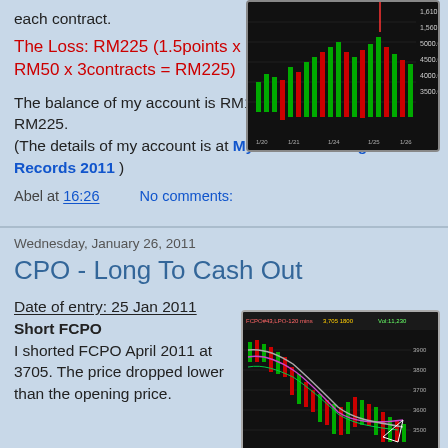each contract.
The Loss: RM225 (1.5points x RM50 x 3contracts = RM225)
[Figure (screenshot): FCPO candlestick trading chart with red and green bars on black background]
The balance of my account is RM17,750 after the loss of RM225.
(The details of my account is at My Future Trading Account Records 2011 )
Abel at 16:26     No comments:
Wednesday, January 26, 2011
CPO - Long To Cash Out
Date of entry: 25 Jan 2011
Short FCPO
I shorted FCPO April 2011 at 3705. The price dropped lower than the opening price.
[Figure (screenshot): FCPO candlestick chart with moving averages, short trade annotation]